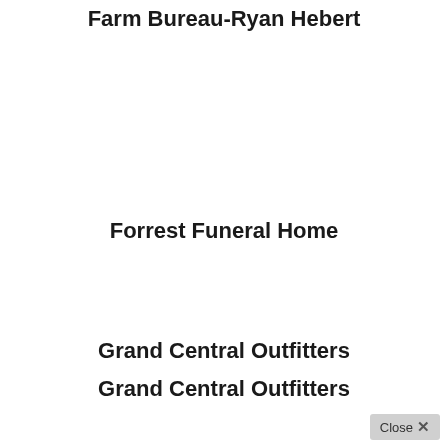Farm Bureau-Ryan Hebert
Forrest Funeral Home
Grand Central Outfitters
Grand Central Outfitters